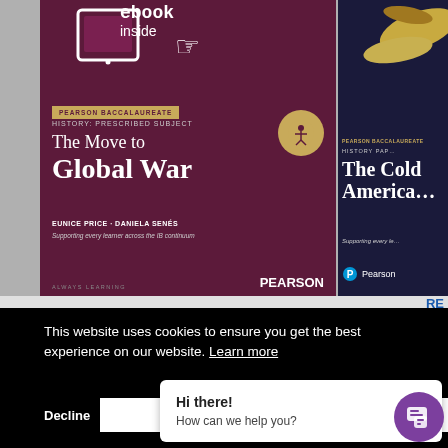[Figure (photo): Two Pearson Baccalaureate textbook covers. Left cover: dark maroon/purple background with ebook tablet icon and hand, golden badge, showing 'The Move to Global War' by Eunice Price and Daniela Senés, Pearson publisher. Right cover (partially visible): dark blue background showing 'The Cold Americas' Pearson Baccalaureate History textbook.]
[Figure (screenshot): Cookie consent overlay banner on black background reading 'This website uses cookies to ensure you get the best experience on our website. Learn more' with Decline and Allow Cookies buttons, and a chat popup saying 'Hi there! How can we help you?' with a purple chat bubble button.]